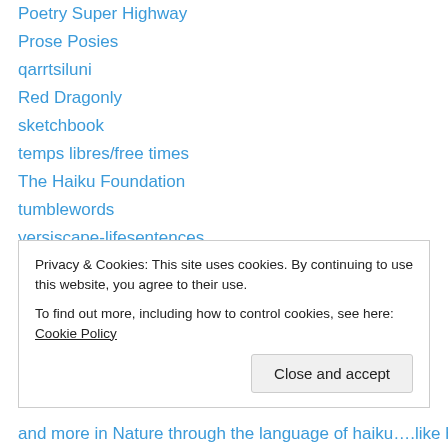Poetry Super Highway
Prose Posies
qarrtsiluni
Red Dragonly
sketchbook
temps libres/free times
The Haiku Foundation
tumblewords
versiscape-lifesentences
winningwriters
With Cherries on Top
WordPress.com
WordPress.org
Privacy & Cookies: This site uses cookies. By continuing to use this website, you agree to their use. To find out more, including how to control cookies, see here: Cookie Policy
Close and accept
and more in Nature through the language of haiku….like how it did mine